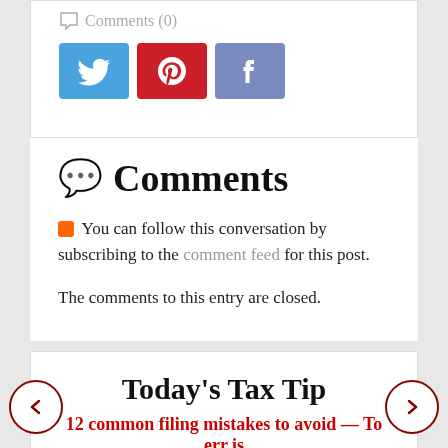Comments (0)
[Figure (illustration): Three social media share buttons: Twitter (blue), Pinterest (red), Facebook (muted blue)]
Comments
You can follow this conversation by subscribing to the comment feed for this post.
The comments to this entry are closed.
Today's Tax Tip
12 common filing mistakes to avoid — To err is